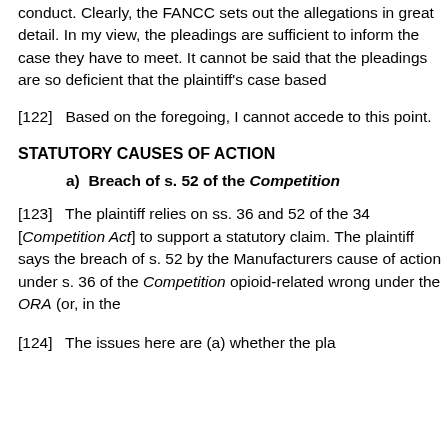conduct. Clearly, the FANCC sets out the allegations in great detail. In my view, the pleadings are sufficient to inform the case they have to meet. It cannot be said that the pleadings are so deficient that the plaintiff's case based
[122]  Based on the foregoing, I cannot accede to this point.
STATUTORY CAUSES OF ACTION
a)  Breach of s. 52 of the Competition
[123]  The plaintiff relies on ss. 36 and 52 of the 34 [Competition Act] to support a statutory claim. The plaintiff says the breach of s. 52 by the Manufacturers cause of action under s. 36 of the Competition opioid-related wrong under the ORA (or, in the
[124]  The issues here are (a) whether the pl